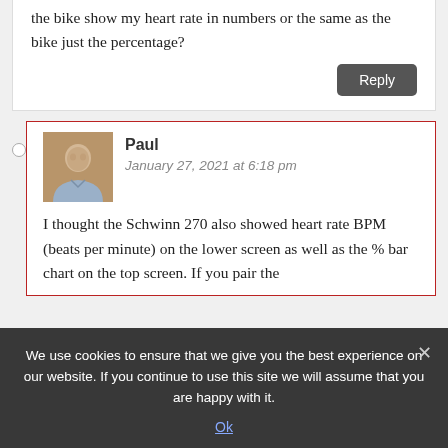the bike show my heart rate in numbers or the same as the bike just the percentage?
Reply
Paul
January 27, 2021 at 6:18 pm
I thought the Schwinn 270 also showed heart rate BPM (beats per minute) on the lower screen as well as the % bar chart on the top screen. If you pair the
We use cookies to ensure that we give you the best experience on our website. If you continue to use this site we will assume that you are happy with it.
Ok